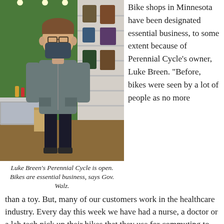[Figure (photo): A man wearing a face mask and grey zip-up sweater standing inside a bicycle shop (Perennial Cycle), with bikes and gear visible in the background.]
Luke Breen's Perennial Cycle is open. Bikes are essential business, says Gov. Walz.
Bike shops in Minnesota have been designated essential business, to some extent because of Perennial Cycle's owner, Luke Breen. “Before, bikes were seen by a lot of people as no more than a toy. But, many of our customers work in the healthcare industry. Every day this week we have had a nurse, a doctor or a lab tech pick up their bikes that they use for commuting to work,” said Breen.
“We are also seeing quite a few bikes that have not been used in the past several years,” Breen said. “People are hoping that getting out on a bike for some exercise will help to get through these long…